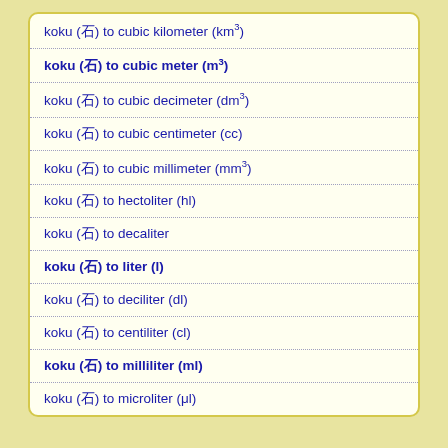koku (石) to cubic kilometer (km³)
koku (石) to cubic meter (m³)
koku (石) to cubic decimeter (dm³)
koku (石) to cubic centimeter (cc)
koku (石) to cubic millimeter (mm³)
koku (石) to hectoliter (hl)
koku (石) to decaliter
koku (石) to liter (l)
koku (石) to deciliter (dl)
koku (石) to centiliter (cl)
koku (石) to milliliter (ml)
koku (石) to microliter (μl)